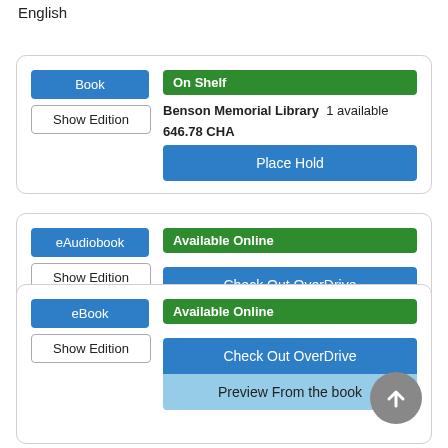English
Book | Show Edition | On Shelf | Benson Memorial Library 1 available | 646.78 CHA | Place Hold
eAudiobook | Show Edition | Available Online | Check Out OverDrive | Preview Part 1
eBook | Show Edition | Available Online | Check Out OverDrive | Preview From the book